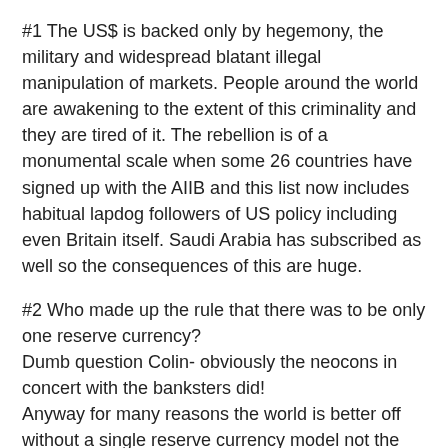#1 The US$ is backed only by hegemony, the military and widespread blatant illegal manipulation of markets. People around the world are awakening to the extent of this criminality and they are tired of it. The rebellion is of a monumental scale when some 26 countries have signed up with the AIIB and this list now includes habitual lapdog followers of US policy including even Britain itself. Saudi Arabia has subscribed as well so the consequences of this are huge.
#2 Who made up the rule that there was to be only one reserve currency?
Dumb question Colin- obviously the neocons in concert with the banksters did!
Anyway for many reasons the world is better off without a single reserve currency model not the least of which is that this ‘privilege’ seems to encourage very bad behavior of the encumberant nation.
Quite frankly we are all likely to be far better served by a shared reserve currency status or an organized the better model that does not foster such boorish behavior.